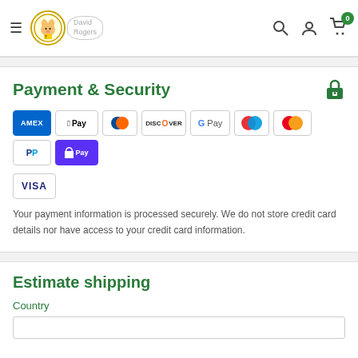David Rogers - Navigation header with logo, search, account and cart icons
Payment & Security
[Figure (infographic): Payment method icons: American Express, Apple Pay, Diners Club, Discover, Google Pay, Maestro, Mastercard, PayPal, Shop Pay, Visa]
Your payment information is processed securely. We do not store credit card details nor have access to your credit card information.
Estimate shipping
Country